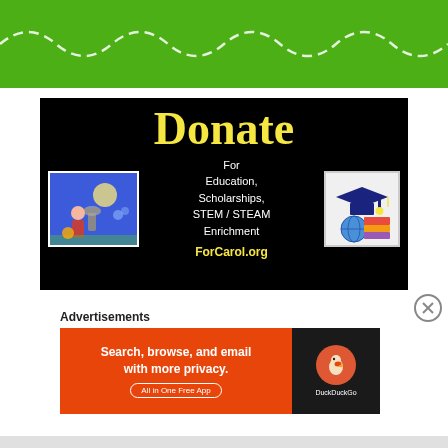[Figure (illustration): Green banner with white dashed wave line running horizontally across it]
[Figure (infographic): Black banner with yellow 'Donate' title, white text 'For Education, Scholarships, STEM / STEAM Enrichment', yellow URL 'ForCarol.org', illustration of student with microscope on left, graduation cap with books and globe illustration on right]
Advertisements
[Figure (infographic): DuckDuckGo advertisement: orange background on left with text 'Search, browse, and email with more privacy. All in One Free App', dark background on right with DuckDuckGo logo]